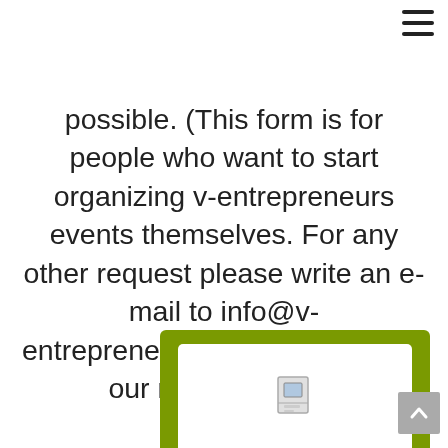[Figure (other): Hamburger menu icon (three horizontal lines) in top right corner]
possible. (This form is for people who want to start organizing v-entrepreneurs events themselves. For any other request please write an e-mail to info@v-entrepreneurs.com or sign up to our newsletter list)
[Figure (other): Green rounded rectangle box at the bottom with a white inner panel containing an image icon, partially visible]
[Figure (other): Scroll-to-top button (grey square with upward chevron arrow) at bottom right]